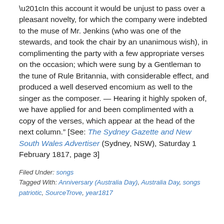“In this account it would be unjust to pass over a pleasant novelty, for which the company were indebted to the muse of Mr. Jenkins (who was one of the stewards, and took the chair by an unanimous wish), in complimenting the party with a few appropriate verses on the occasion; which were sung by a Gentleman to the tune of Rule Britannia, with considerable effect, and produced a well deserved encomium as well to the singer as the composer. — Hearing it highly spoken of, we have applied for and been complimented with a copy of the verses, which appear at the head of the next column.” [See: The Sydney Gazette and New South Wales Advertiser (Sydney, NSW), Saturday 1 February 1817, page 3]
Filed Under: songs
Tagged With: Anniversary (Australia Day), Australia Day, songs patriotic, SourceTrove, year1817